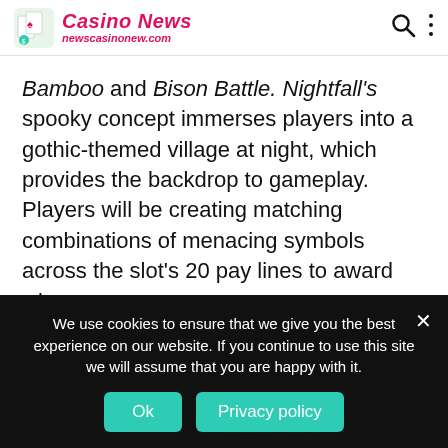Casino News — newscasinonew.com
Bamboo and Bison Battle. Nightfall's spooky concept immerses players into a gothic-themed village at night, which provides the backdrop to gameplay. Players will be creating matching combinations of menacing symbols across the slot's 20 pay lines to award wins.
BF Games, the dynamic games development studio, invites
We use cookies to ensure that we give you the best experience on our website. If you continue to use this site we will assume that you are happy with it.